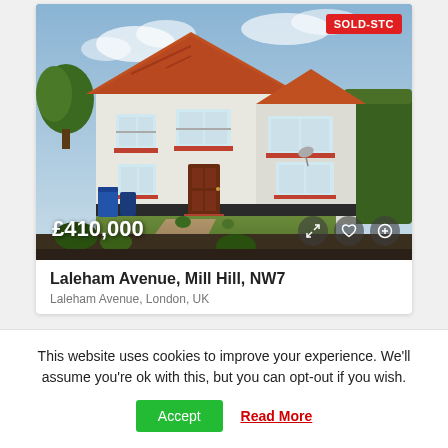[Figure (photo): Exterior photo of a semi-detached white rendered house with orange/red tiled roof, brown front door, garden lawn, hedges on the right, and a blue recycling bin on the left. Sky is partly cloudy.]
Laleham Avenue, Mill Hill, NW7
Laleham Avenue, London, UK
This website uses cookies to improve your experience. We'll assume you're ok with this, but you can opt-out if you wish.
Accept  Read More